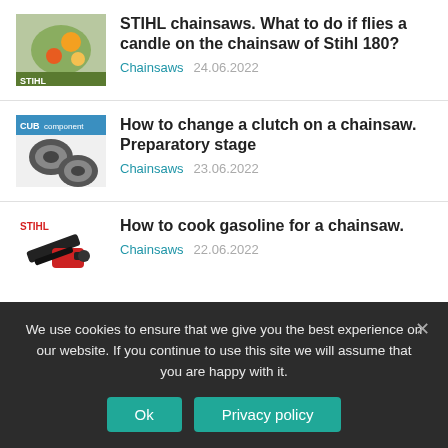STIHL chainsaws. What to do if flies a candle on the chainsaw of Stihl 180? | Chainsaws 24.06.2022
How to change a clutch on a chainsaw. Preparatory stage | Chainsaws 23.06.2022
How to cook gasoline for a chainsaw. | Chainsaws 22.06.2022
We use cookies to ensure that we give you the best experience on our website. If you continue to use this site we will assume that you are happy with it.
Ok | Privacy policy